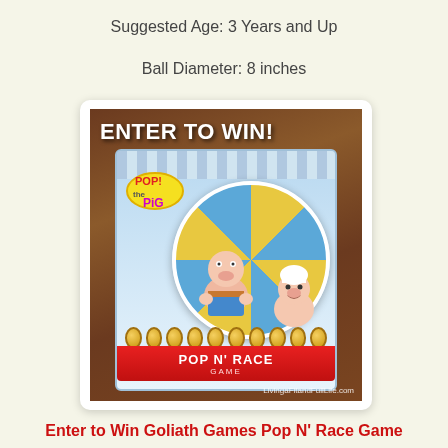Suggested Age: 3 Years and Up
Ball Diameter: 8 inches
[Figure (photo): Photo of Pop the Pig Pop N' Race Game box on wooden surface with 'ENTER TO WIN!' text overlay. Watermark: LivingaFitandFullLife.com]
Enter to Win Goliath Games Pop N' Race Game